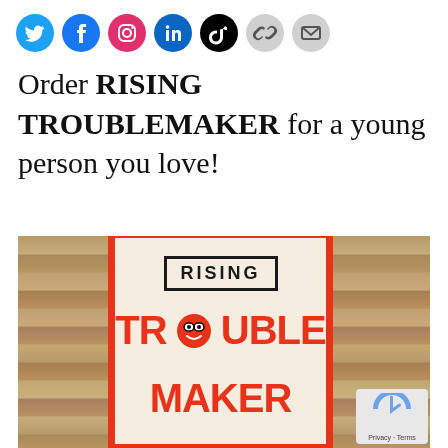Social media icons: Twitter, Facebook, Instagram, LinkedIn, TikTok, Link, Email
Order RISING TROUBLEMAKER for a young person you love!
[Figure (photo): Photo of the book 'Rising Troublemaker' cover placed on a wooden surface. The book has a red border, shows 'RISING' in a stamp-style badge and 'TROUBLEMAKER' in large bold red letters with a smiley face icon in place of the 'O'.]